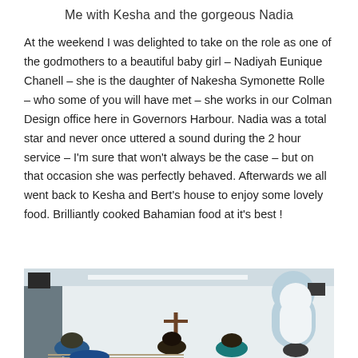Me with Kesha and the gorgeous Nadia
At the weekend I was delighted to take on the role as one of the godmothers to a beautiful baby girl – Nadiyah Eunique Chanell – she is the daughter of Nakesha Symonette Rolle – who some of you will have met – she works in our Colman Design office here in Governors Harbour. Nadia was a total star and never once uttered a sound during the 2 hour service – I'm sure that won't always be the case – but on that occasion she was perfectly behaved. Afterwards we all went back to Kesha and Bert's house to enjoy some lovely food. Brilliantly cooked Bahamian food at it's best !
[Figure (photo): Interior of a church with people seated in pews, white arched windows, a person holding a wooden cross, bright white walls and ceiling.]